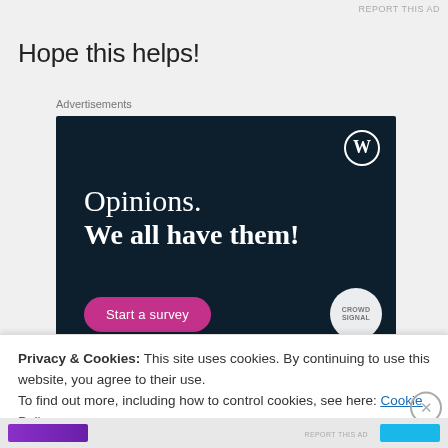REPORT THIS AD
Hope this helps!
Advertisements
[Figure (screenshot): Dark navy advertisement banner for WordPress/Crowdsignal survey tool. White WordPress logo in top right. Text reads 'Opinions. We all have them!' in white serif font. Pink rounded 'Start a survey' button at bottom left. Crowdsignal logo circle at bottom right.]
Privacy & Cookies: This site uses cookies. By continuing to use this website, you agree to their use.
To find out more, including how to control cookies, see here: Cookie Policy
Close and accept